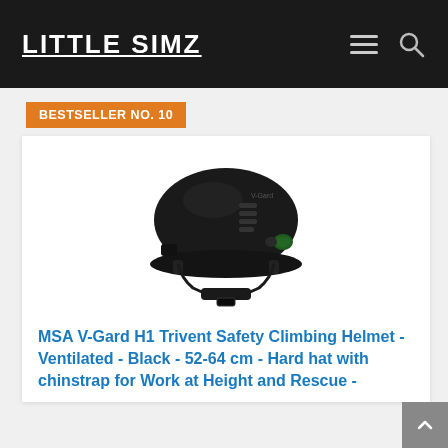LITTLE SIMZ
BESTSELLER NO. 10
[Figure (photo): MSA V-Gard H1 Trivent black safety climbing helmet with ventilation slots, chin strap, and adjustment dial, photographed on white background]
MSA V-Gard H1 Trivent Safety Climbing Helmet - Ventilated - Black - 52-64 cm - Hard hat with chinstrap for Work at Height and Rescue -